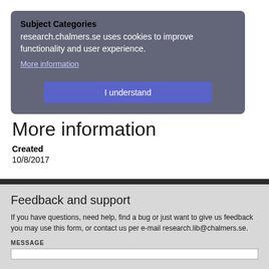Subject Categories
research.chalmers.se uses cookies to improve functionality and user experience.
More information
I understand
More information
Created
10/8/2017
Feedback and support
If you have questions, need help, find a bug or just want to give us feedback you may use this form, or contact us per e-mail research.lib@chalmers.se.
MESSAGE